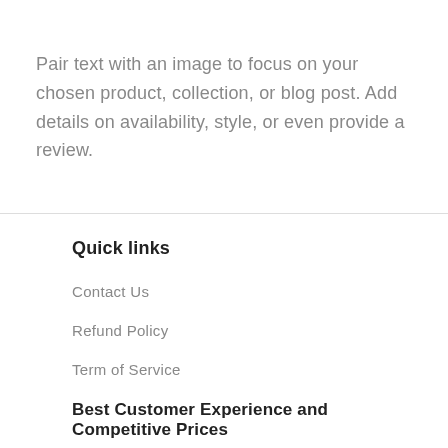Pair text with an image to focus on your chosen product, collection, or blog post. Add details on availability, style, or even provide a review.
Quick links
Contact Us
Refund Policy
Term of Service
Best Customer Experience and Competitive Prices